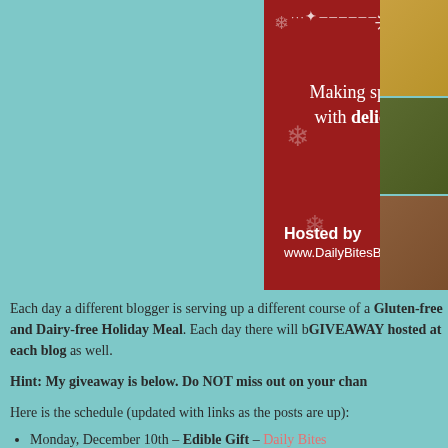[Figure (illustration): Holiday food blog banner with red background, snowflakes, text 'Making spirits bright with delicious food!' and 'Hosted by www.DailyBitesBlog.com', alongside food photos on the right]
Each day a different blogger is serving up a different course of a Gluten-free and Dairy-free Holiday Meal. Each day there will be a GIVEAWAY hosted at each blog as well.
Hint: My giveaway is below. Do NOT miss out on your chance
Here is the schedule (updated with links as the posts are up):
Monday, December 10th – Edible Gift – Daily Bites
Tuesday, December 11th – Appetizers – Me: Simple Gluten Appetizers (Recipes Below)